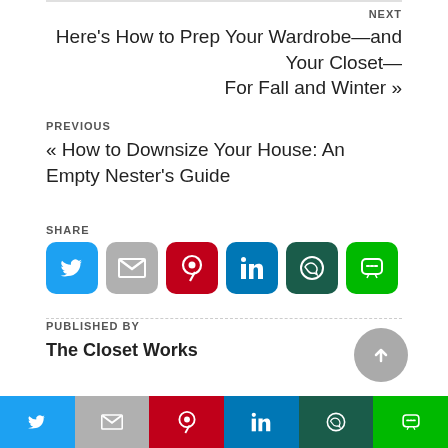NEXT
Here's How to Prep Your Wardrobe—and Your Closet—For Fall and Winter »
PREVIOUS
« How to Downsize Your House: An Empty Nester's Guide
SHARE
[Figure (infographic): Social share buttons: Twitter, Gmail, Pinterest, LinkedIn, WhatsApp, Line]
PUBLISHED BY
The Closet Works
[Figure (infographic): Bottom social share bar: Twitter, Gmail, Pinterest, LinkedIn, WhatsApp, Line]